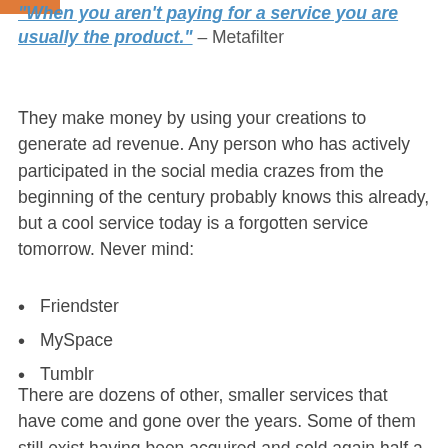"When you aren't paying for a service you are usually the product." – Metafilter
They make money by using your creations to generate ad revenue. Any person who has actively participated in the social media crazes from the beginning of the century probably knows this already, but a cool service today is a forgotten service tomorrow. Never mind:
Friendster
MySpace
Tumblr
There are dozens of other, smaller services that have come and gone over the years. Some of them still exist having been acquired and sold again half a dozen times until the last Cent is pressed out of them. Once the hype is over the cool crowd moves elsewhere and the mainstream follows sooner or later.